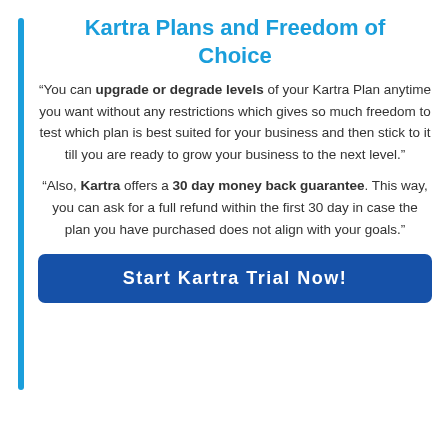Kartra Plans and Freedom of Choice
“You can upgrade or degrade levels of your Kartra Plan anytime you want without any restrictions which gives so much freedom to test which plan is best suited for your business and then stick to it till you are ready to grow your business to the next level.”
“Also, Kartra offers a 30 day money back guarantee. This way, you can ask for a full refund within the first 30 day in case the plan you have purchased does not align with your goals.”
Start Kartra Trial Now!